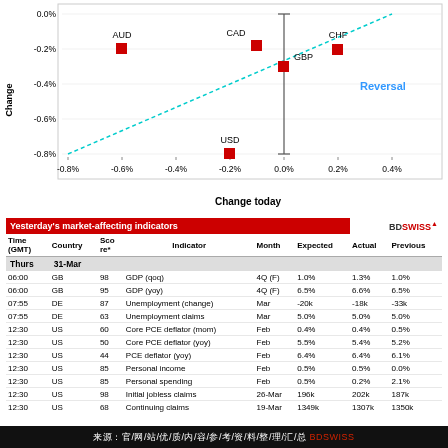[Figure (scatter-plot): Scatter plot showing currency changes vs prior changes with a dashed reversal line. Currencies: AUD, CAD, USD, GBP, CHF.]
| Time (GMT) | Country | Score* | Indicator | Month | Expected | Actual | Previous |
| --- | --- | --- | --- | --- | --- | --- | --- |
| 06:00 | GB | 98 | GDP (qoq) | 4Q (F) | 1.0% | 1.3% | 1.0% |
| 06:00 | GB | 95 | GDP (yoy) | 4Q (F) | 6.5% | 6.6% | 6.5% |
| 07:55 | DE | 87 | Unemployment (change) | Mar | -20k | -18k | -33k |
| 07:55 | DE | 63 | Unemployment claims | Mar | 5.0% | 5.0% | 5.0% |
| 12:30 | US | 60 | Core PCE deflator (mom) | Feb | 0.4% | 0.4% | 0.5% |
| 12:30 | US | 50 | Core PCE deflator (yoy) | Feb | 5.5% | 5.4% | 5.2% |
| 12:30 | US | 44 | PCE deflator (yoy) | Feb | 6.4% | 6.4% | 6.1% |
| 12:30 | US | 85 | Personal income | Feb | 0.5% | 0.5% | 0.0% |
| 12:30 | US | 85 | Personal spending | Feb | 0.5% | 0.2% | 2.1% |
| 12:30 | US | 98 | Initial jobless claims | 26-Mar | 196k | 202k | 187k |
| 12:30 | US | 68 | Continuing claims | 19-Mar | 1349k | 1307k | 1350k |
来源: 官/网/站/优/质/内/容/参/考/资/料/整/理/汇/总 BDSWISS